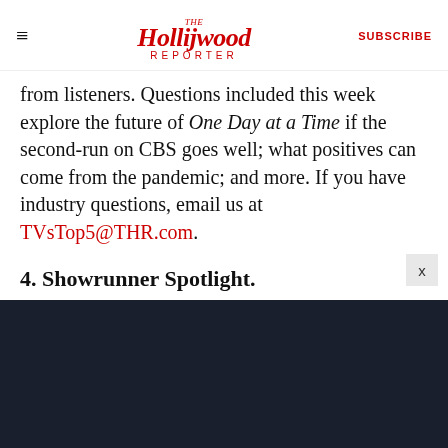The Hollywood Reporter | SUBSCRIBE
from listeners. Questions included this week explore the future of One Day at a Time if the second-run on CBS goes well; what positives can come from the pandemic; and more. If you have industry questions, email us at TVsTop5@THR.com.
4. Showrunner Spotlight.
Power creator and showrunner Courtney Kemp joins the show for an interview about how she's turning the Starz hit into a franchise with four —